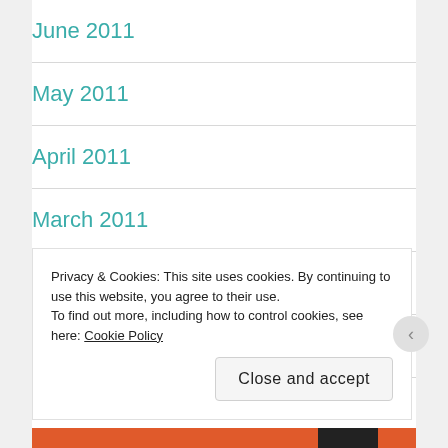June 2011
May 2011
April 2011
March 2011
February 2011
January 2011
December 2010
Privacy & Cookies: This site uses cookies. By continuing to use this website, you agree to their use.
To find out more, including how to control cookies, see here: Cookie Policy
Close and accept